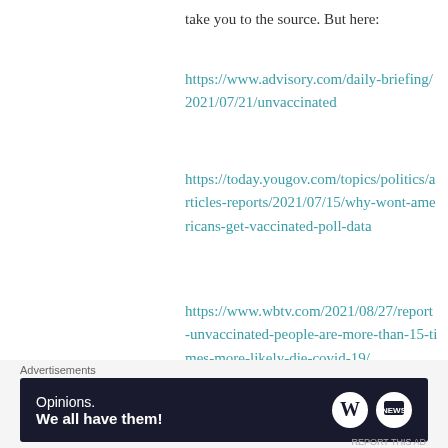take you to the source. But here:
https://www.advisory.com/daily-briefing/2021/07/21/unvaccinated
https://today.yougov.com/topics/politics/articles-reports/2021/07/15/why-wont-americans-get-vaccinated-poll-data
https://www.wbtv.com/2021/08/27/report-unvaccinated-people-are-more-than-15-times-more-likely-die-covid-19/
Like
Advertisements
[Figure (other): WordPress advertisement banner: 'Opinions. We all have them!' with WordPress and another logo on dark navy background]